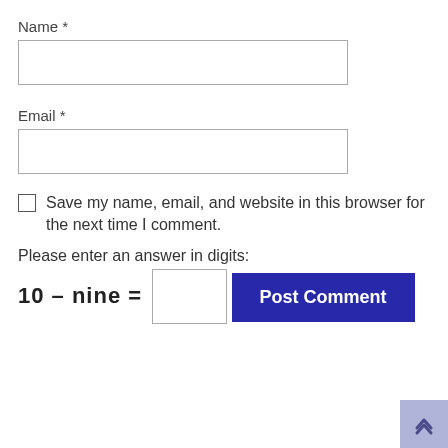Name *
Email *
Save my name, email, and website in this browser for the next time I comment.
Please enter an answer in digits:
Post Comment